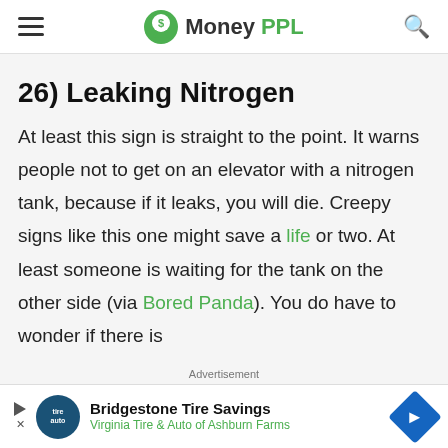MoneyPPL
26) Leaking Nitrogen
At least this sign is straight to the point. It warns people not to get on an elevator with a nitrogen tank, because if it leaks, you will die. Creepy signs like this one might save a life or two. At least someone is waiting for the tank on the other side (via Bored Panda). You do have to wonder if there is
Advertisement
[Figure (other): Bridgestone Tire Savings advertisement banner with logo circle, text 'Bridgestone Tire Savings / Virginia Tire & Auto of Ashburn Farms', and blue diamond arrow icon]